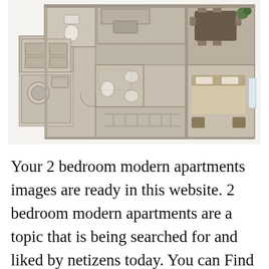[Figure (illustration): 3D isometric floor plan of a 2-bedroom modern apartment showing living area, kitchen, dining room, two bathrooms, and two bedrooms with furniture rendered in a brown/taupe color scheme, viewed from above at an angle]
Your 2 bedroom modern apartments images are ready in this website. 2 bedroom modern apartments are a topic that is being searched for and liked by netizens today. You can Find and Download the 2 bedroom modern apartments here. Find and